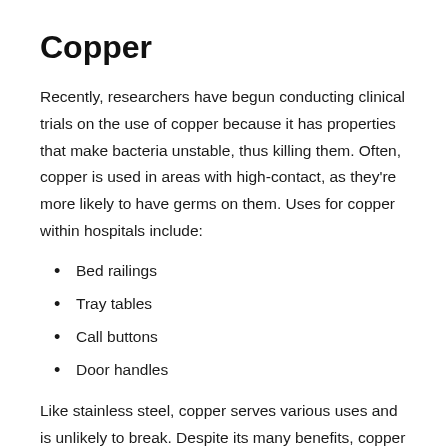Copper
Recently, researchers have begun conducting clinical trials on the use of copper because it has properties that make bacteria unstable, thus killing them. Often, copper is used in areas with high-contact, as they’re more likely to have germs on them. Uses for copper within hospitals include:
Bed railings
Tray tables
Call buttons
Door handles
Like stainless steel, copper serves various uses and is unlikely to break. Despite its many benefits, copper is not as commonly used within medical manufacturing because it’s